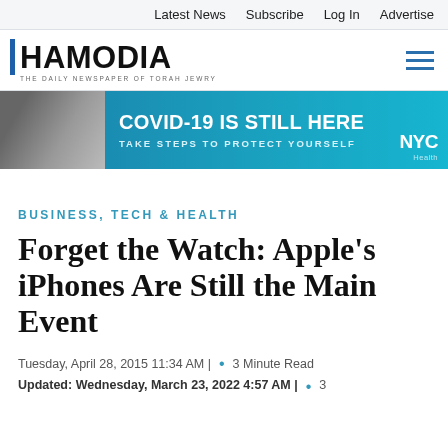Latest News  Subscribe  Log In  Advertise
[Figure (logo): Hamodia logo — 'THE DAILY NEWSPAPER OF TORAH JEWRY' with hamburger menu icon]
[Figure (infographic): COVID-19 IS STILL HERE / TAKE STEPS TO PROTECT YOURSELF — NYC banner ad with masked person on phone]
BUSINESS, TECH & HEALTH
Forget the Watch: Apple's iPhones Are Still the Main Event
Tuesday, April 28, 2015 11:34 AM |  •  3 Minute Read
Updated: Wednesday, March 23, 2022 4:57 AM |  •  3 Minute Read